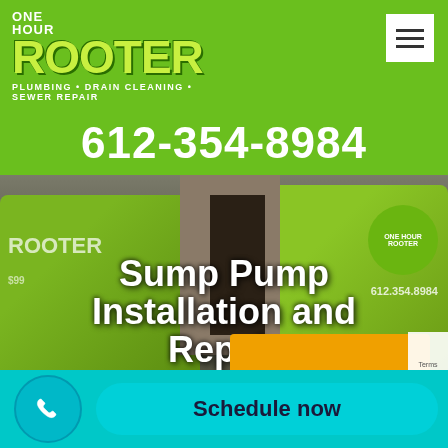[Figure (logo): One Hour Rooter logo — green background with white 'ONE HOUR' text above large yellow-green 'ROOTER' text, subtitle 'PLUMBING • DRAIN CLEANING • SEWER REPAIR']
612-354-8984
[Figure (photo): Photo of two green One Hour Rooter service vans parked in front of a building with the text 'Sump Pump Installation and Repair' overlaid in large white bold font]
Sump Pump Installation and Repair
[Figure (other): Bottom bar with a teal circular phone button on the left and a teal 'Schedule now' pill-shaped button on the right]